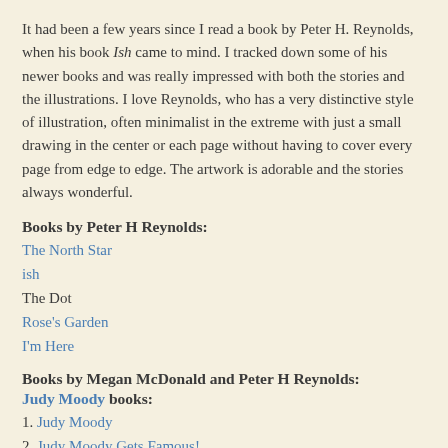It had been a few years since I read a book by Peter H. Reynolds, when his book Ish came to mind. I tracked down some of his newer books and was really impressed with both the stories and the illustrations. I love Reynolds, who has a very distinctive style of illustration, often minimalist in the extreme with just a small drawing in the center or each page without having to cover every page from edge to edge. The artwork is adorable and the stories always wonderful.
Books by Peter H Reynolds:
The North Star
ish
The Dot
Rose's Garden
I'm Here
Books by Megan McDonald and Peter H Reynolds:
Judy Moody books:
1. Judy Moody
2. Judy Moody Gets Famous!
3. Judy Moody Saves the World!
4. Judy Moody Predicts the Future...